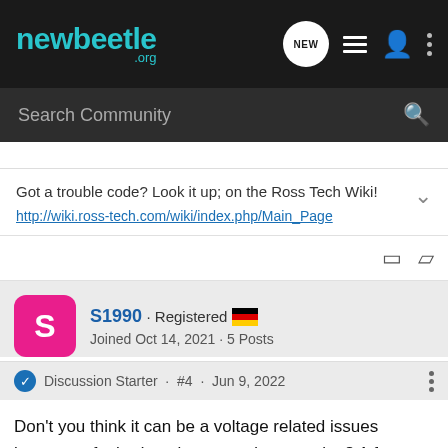newbeetle.org
Search Community
Got a trouble code? Look it up; on the Ross Tech Wiki!
http://wiki.ross-tech.com/wiki/index.php/Main_Page
S1990 · Registered
Joined Oct 14, 2021 · 5 Posts
Discussion Starter · #4 · Jun 9, 2022
Don't you think it can be a voltage related issues because of a bad engine ground connection? A few months ago, I had problems with flickering lights. The solution was to replace the secondary air pump, which had too much initial current because